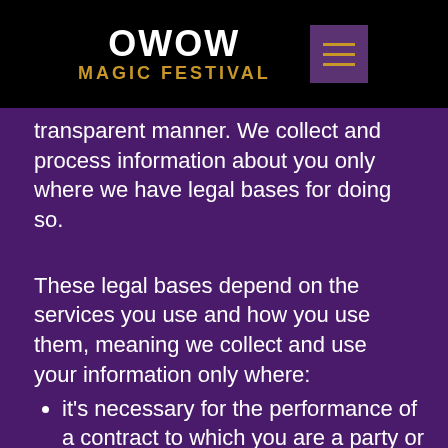OWOW MAGIC FESTIVAL
transparent manner. We collect and process information about you only where we have legal bases for doing so.
These legal bases depend on the services you use and how you use them, meaning we collect and use your information only where:
it's necessary for the performance of a contract to which you are a party or to take steps at your request before entering into such a contract (for example, when we provide a service you request from us);